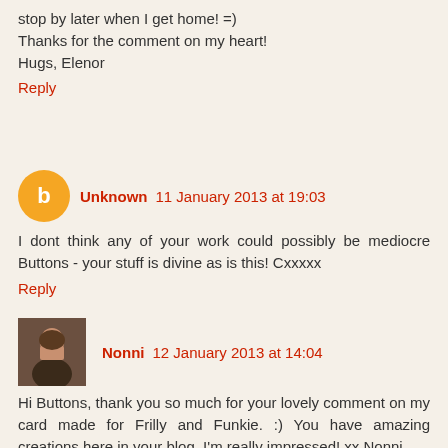stop by later when I get home! =)
Thanks for the comment on my heart!
Hugs, Elenor
Reply
Unknown  11 January 2013 at 19:03
I dont think any of your work could possibly be mediocre Buttons - your stuff is divine as is this! Cxxxxx
Reply
Nonni  12 January 2013 at 14:04
Hi Buttons, thank you so much for your lovely comment on my card made for Frilly and Funkie. :) You have amazing creations here in your blog, I'm really impressed! xx Nonni

p.s. I ment by "bad stamper" that I was behaving badly when not following the sketch 100 %. :)
Reply